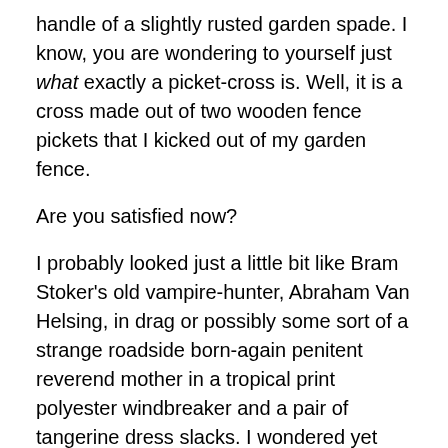handle of a slightly rusted garden spade. I know, you are wondering to yourself just what exactly a picket-cross is. Well, it is a cross made out of two wooden fence pickets that I kicked out of my garden fence.
Are you satisfied now?
I probably looked just a little bit like Bram Stoker's old vampire-hunter, Abraham Van Helsing, in drag or possibly some sort of a strange roadside born-again penitent reverend mother in a tropical print polyester windbreaker and a pair of tangerine dress slacks. I wondered yet again if I shouldn't have worn black. Black was the color of mourning, wasn't it? No, not black.
Black was definitely not the color of mourning. Black was a color that was worn by international spies and by people who did not happen to suffer from the lingering...